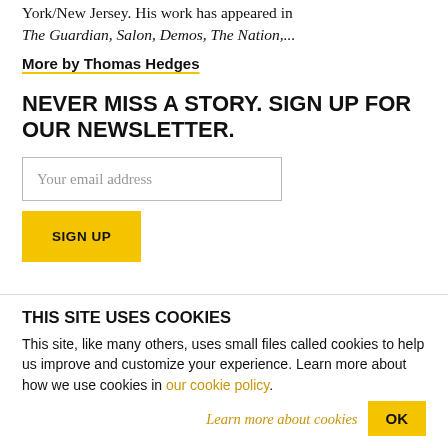York/New Jersey. His work has appeared in The Guardian, Salon, Demos, The Nation,...
More by Thomas Hedges
NEVER MISS A STORY. SIGN UP FOR OUR NEWSLETTER.
Your email address
SIGN UP
THIS SITE USES COOKIES
This site, like many others, uses small files called cookies to help us improve and customize your experience. Learn more about how we use cookies in our cookie policy.
Learn more about cookies
OK